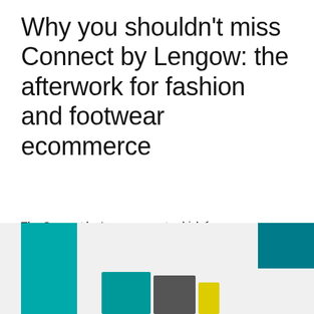Why you shouldn’t miss Connect by Lengow: the afterwork for fashion and footwear ecommerce
The Connect by Lengow event, which focuses on “Challenges, benefits and trends of the online fashion and footwear strategy”will take place in the Hotel Huerto del Cura, in the city of Elche, in Alicante, from the 18:00 CEST.
[Figure (photo): Partial view of a promotional image with teal and dark geometric shapes, cards or booklets in teal, dark gray, and yellow colors against a light background.]